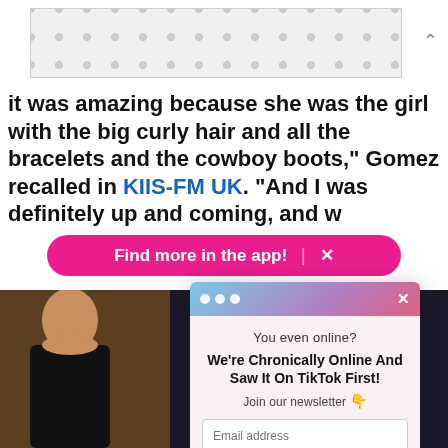[Figure (other): Ad banner placeholder with polka dot pattern]
It was amazing because she was the girl with the big curly hair and all the bracelets and the cowboy boots," Gomez recalled in [KIIS-FM UK]. "And I was definitely up and coming, and w...
[Figure (other): Pink app promotion banner with text 'Find more in the app!' and an X close button]
[Figure (screenshot): Popup modal with gradient header showing three dots and X close button. Body contains: 'You even online?' text, bold title 'We're Chronically Online And Saw It On TikTok First!', 'Join our newsletter' with emoji, email address input field, 'Sign Me Up!' button, and 'No Thanks' link.]
[Figure (photo): Two photos of people at an event, partially visible behind the popup modal]